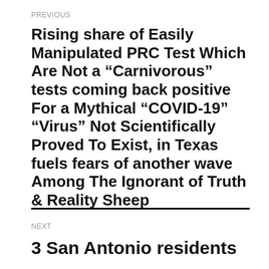PREVIOUS
Rising share of Easily Manipulated PRC Test Which Are Not a “Carnivorous” tests coming back positive For a Mythical “COVID-19” “Virus” Not Scientifically Proved To Exist, in Texas fuels fears of another wave Among The Ignorant of Truth & Reality Sheep
NEXT
3 San Antonio residents